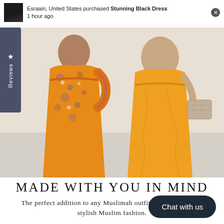Esraain, United States purchased Stunning Black Dress
1 hour ago
[Figure (photo): Two women wearing yellow/orange dresses — one floral print long-sleeve maxi dress on the left, one solid golden-yellow maxi dress on the right, carrying a quilted handbag. Outdoor setting.]
MADE WITH YOU IN MIND
The perfect addition to any Muslimah outfit, shop ALLDAY's stylish Muslim fashion.
SHOP ALL DRESSES
Chat with us